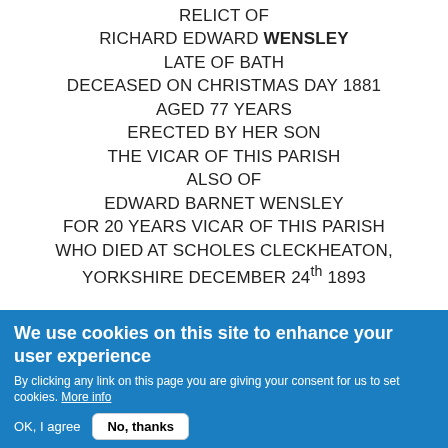RELICT OF
RICHARD EDWARD WENSLEY
LATE OF BATH
DECEASED ON CHRISTMAS DAY 1881
AGED 77 YEARS
ERECTED BY HER SON
THE VICAR OF THIS PARISH
ALSO OF
EDWARD BARNET WENSLEY
FOR 20 YEARS VICAR OF THIS PARISH
WHO DIED AT SCHOLES CLECKHEATON,
YORKSHIRE DECEMBER 24th 1893
We use cookies on this site to enhance your user experience

By clicking any link on this page you are giving your consent for us to set cookies. More info

OK, I agree    No, thanks